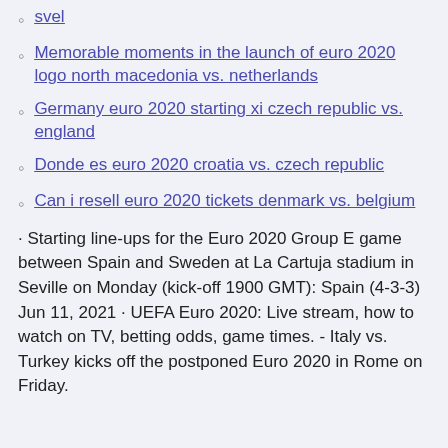svel
Memorable moments in the launch of euro 2020 logo north macedonia vs. netherlands
Germany euro 2020 starting xi czech republic vs. england
Donde es euro 2020 croatia vs. czech republic
Can i resell euro 2020 tickets denmark vs. belgium
· Starting line-ups for the Euro 2020 Group E game between Spain and Sweden at La Cartuja stadium in Seville on Monday (kick-off 1900 GMT): Spain (4-3-3) Jun 11, 2021 · UEFA Euro 2020: Live stream, how to watch on TV, betting odds, game times. - Italy vs. Turkey kicks off the postponed Euro 2020 in Rome on Friday.